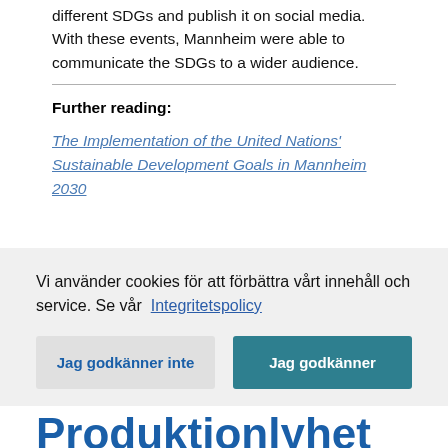different SDGs and publish it on social media. With these events, Mannheim were able to communicate the SDGs to a wider audience.
Further reading:
The Implementation of the United Nations' Sustainable Development Goals in Mannheim 2030
Vi använder cookies för att förbättra vårt innehåll och service. Se vår Integritetspolicy
Jag godkänner inte
Jag godkänner
Produktionlyhet